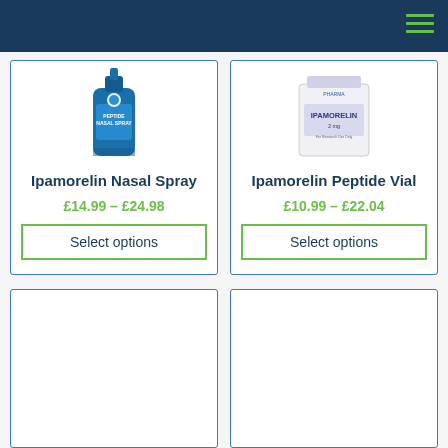Navigation header with hamburger menu
[Figure (photo): Ipamorelin Nasal Spray product bottle - blue cylindrical container]
Ipamorelin Nasal Spray
£14.99 – £24.98
Select options
[Figure (photo): Ipamorelin Peptide Vial - white rectangular vial with label showing IPAMORELIN 2mg]
Ipamorelin Peptide Vial
£10.99 – £22.04
Select options